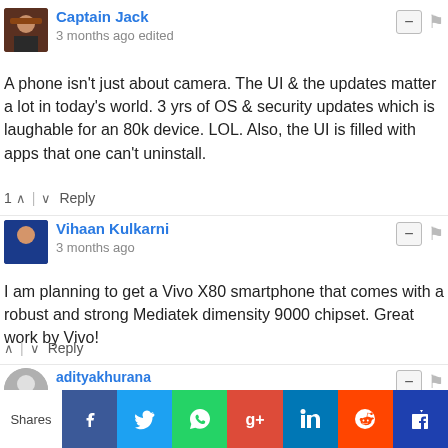[Figure (photo): Avatar of Captain Jack - pirate-themed profile photo]
Captain Jack
3 months ago edited
A phone isn't just about camera. The UI & the updates matter a lot in today's world. 3 yrs of OS & security updates which is laughable for an 80k device. LOL. Also, the UI is filled with apps that one can't uninstall.
1 ^ | v Reply
[Figure (photo): Avatar of Vihaan Kulkarni - person in blue outfit]
Vihaan Kulkarni
3 months ago
I am planning to get a Vivo X80 smartphone that comes with a robust and strong Mediatek dimensity 9000 chipset. Great work by Vivo!
^ | v Reply
[Figure (photo): Avatar of adityakhurana - generic grey person silhouette]
adityakhurana
3 months ago
50MP primary camera with the first Sony IMX866 RGBW sensor with the Mediatek d9000 chipset is great. Looking forward to it!
Shares | Facebook | Twitter | WhatsApp | Google+ | LinkedIn | Reddit | Crown